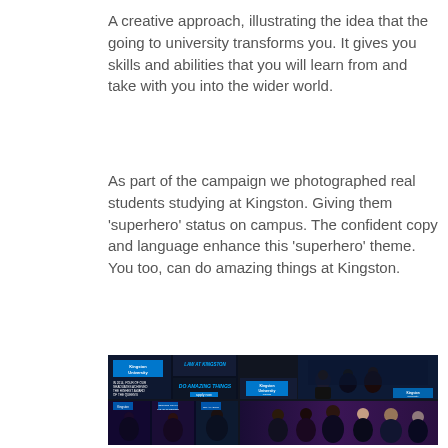A creative approach, illustrating the idea that the going to university transforms you. It gives you skills and abilities that you will learn from and take with you into the wider world.
As part of the campaign we photographed real students studying at Kingston. Giving them ‘superhero’ status on campus. The confident copy and language enhance this ‘superhero’ theme. You too, can do amazing things at Kingston.
[Figure (photo): A collage of Kingston University campaign images showing students posed in superhero-style photography against dark dramatic backgrounds. Top row: a grid of smaller campaign ads including the Kingston University logo in blue, text reading 'LAW AT KINGSTON', 'WILL TEACH YOU THE ART OF DEFENCE', and 'IN 2014, FOUR OF OUR GRADUATES ACHIEVED THE HIGHEST AWARD OF THE QUEEN'S COUNSEL (SILKS)', 'DO AMAZING THINGS', alongside a large photo of students posed dramatically. Bottom row: additional campaign images showing students in dramatic poses against dark purple and blue backgrounds.]